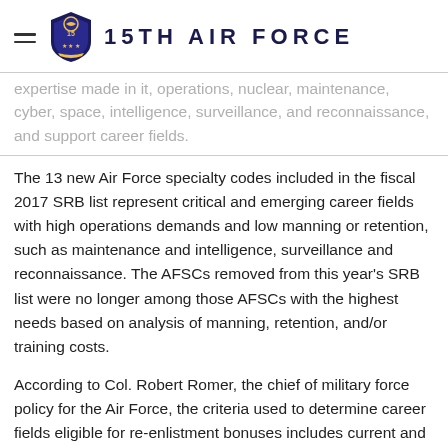15TH AIR FORCE
expertise made in it, operations, nuclear, maintenance, cyber, space, intelligence, surveillance, and reconnaissance, and support career fields.
The 13 new Air Force specialty codes included in the fiscal 2017 SRB list represent critical and emerging career fields with high operations demands and low manning or retention, such as maintenance and intelligence, surveillance and reconnaissance. The AFSCs removed from this year's SRB list were no longer among those AFSCs with the highest needs based on analysis of manning, retention, and/or training costs.
According to Col. Robert Romer, the chief of military force policy for the Air Force, the criteria used to determine career fields eligible for re-enlistment bonuses includes current and projected manning levels, retention levels and trends,